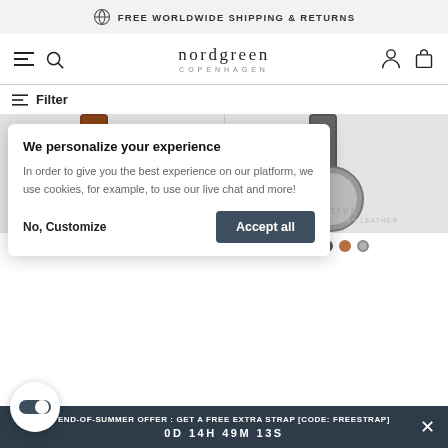FREE WORLDWIDE SHIPPING & RETURNS
[Figure (screenshot): Nordgreen Copenhagen watch brand navigation bar with hamburger menu, search icon, logo, user account and bag icons]
Filter
[Figure (photo): Two watch product images partially visible — left shows brown leather strap watch (Infinity), right shows grey leather strap watch (Native Black Dial - Grey Leather)]
We personalize your experience
In order to give you the best experience on our platform, we use cookies, for example, to use our live chat and more!
No, Customize
Accept all
END-OF-SUMMER OFFER : GET A FREE EXTRA STRAP [CODE: FREESTRAP]
0D 14H 49M 13S